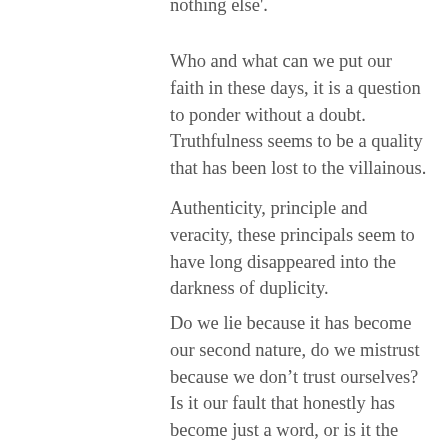nothing else'.
Who and what can we put our faith in these days, it is a question to ponder without a doubt. Truthfulness seems to be a quality that has been lost to the villainous.
Authenticity, principle and veracity, these principals seem to have long disappeared into the darkness of duplicity.
Do we lie because it has become our second nature, do we mistrust because we don’t trust ourselves? Is it our fault that honestly has become just a word, or is it the forces of our external world that has made delusion our reality!
Everything seems to be hidden behind a dark and dreary coat of deception, and those that model such a cloak wear also a mask to disguise the truth of who they really are.